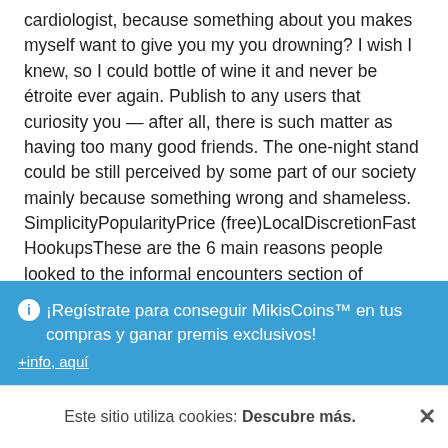cardiologist, because something about you makes myself want to give you my you drowning? I wish I knew, so I could bottle of wine it and never be étroite ever again. Publish to any users that curiosity you — after all, there is such matter as having too many good friends. The one-night stand could be still perceived by some part of our society mainly because something wrong and shameless. SimplicityPopularityPrice (free)LocalDiscretionFast HookupsThese are the 6 main reasons people looked to the informal encounters section of craigslist precisely as it was at their 've reviewed a lot of hookup sites and dating sites over the past couple of months and want to review every single
¡Regístrate para conseguir MikisCoins™ en tus compras y ganar premis exclusivos!
Este sitio utiliza cookies: Descubre más.